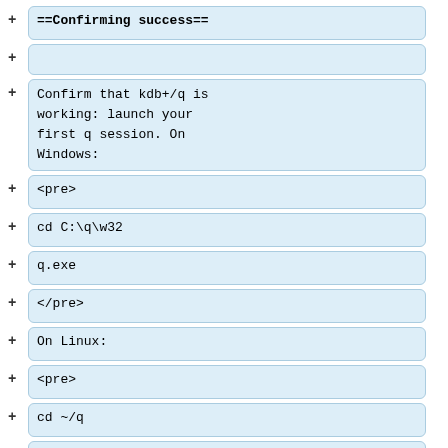==Confirming success==
Confirm that kdb+/q is working: launch your first q session. On Windows:
<pre>
cd C:\q\w32
q.exe
</pre>
On Linux:
<pre>
cd ~/q
./q